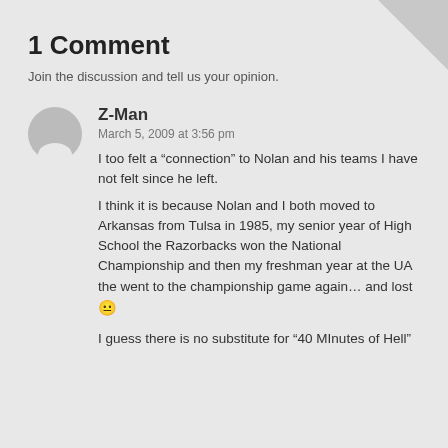1 Comment
Join the discussion and tell us your opinion.
Z-Man
March 5, 2009 at 3:56 pm
I too felt a “connection” to Nolan and his teams I have not felt since he left.
I think it is because Nolan and I both moved to Arkansas from Tulsa in 1985, my senior year of High School the Razorbacks won the National Championship and then my freshman year at the UA the went to the championship game again… and lost 😐

I guess there is no substitute for “40 MInutes of Hell”